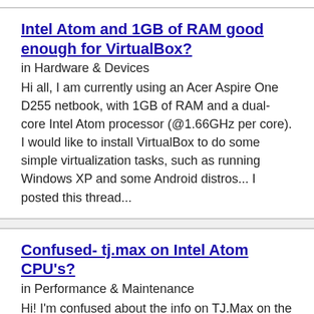Intel Atom and 1GB of RAM good enough for VirtualBox?
in Hardware & Devices
Hi all, I am currently using an Acer Aspire One D255 netbook, with 1GB of RAM and a dual-core Intel Atom processor (@1.66GHz per core). I would like to install VirtualBox to do some simple virtualization tasks, such as running Windows XP and some Android distros... I posted this thread...
Confused- tj.max on Intel Atom CPU's?
in Performance & Maintenance
Hi! I'm confused about the info on TJ.Max on the web. Some say its the max temp and should not be reached, otherwise system shuts down ....others say that, with Intel chips, its the ideal temperature for operation and if it drops DOWN, to 0, the slower and worst it gets (so 20*C is really bad...